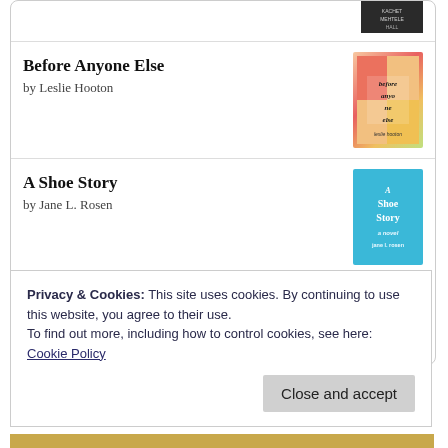[Figure (screenshot): Partial book cover at top of card, dark colored]
Before Anyone Else by Leslie Hooton
[Figure (illustration): Book cover for Before Anyone Else by Leslie Hooton]
A Shoe Story by Jane L. Rosen
[Figure (illustration): Book cover for A Shoe Story by Jane L. Rosen (teal/blue background)]
[Figure (logo): goodreads logo button]
Privacy & Cookies: This site uses cookies. By continuing to use this website, you agree to their use.
To find out more, including how to control cookies, see here:
Cookie Policy
Close and accept